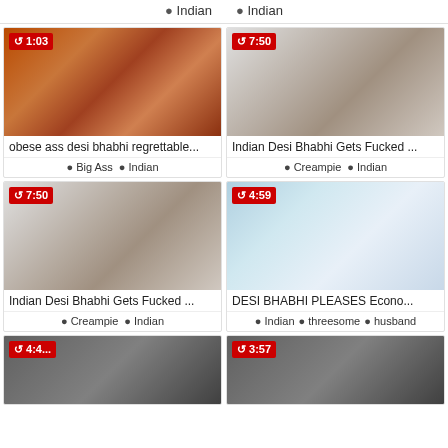Indian   Indian
[Figure (photo): Video thumbnail - obese ass desi bhabhi, duration 1:03]
obese ass desi bhabhi regrettable...
Big Ass   Indian
[Figure (photo): Video thumbnail - Indian Desi Bhabhi Gets Fucked, duration 7:50]
Indian Desi Bhabhi Gets Fucked ...
Creampie   Indian
[Figure (photo): Video thumbnail - Indian Desi Bhabhi Gets Fucked, duration 7:50]
Indian Desi Bhabhi Gets Fucked ...
Creampie   Indian
[Figure (photo): Video thumbnail - DESI BHABHI PLEASES Econo..., duration 4:59]
DESI BHABHI PLEASES Econo...
Indian   threesome   husband